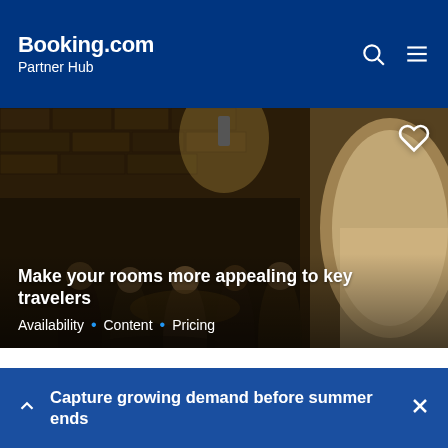Booking.com Partner Hub
[Figure (photo): Group of women in a stone-walled restaurant/bar setting raising glasses together, with an arched window showing a brighter interior space on the right. Overlay text reads: Make your rooms more appealing to key travelers. Tags: Availability · Content · Pricing]
Three traveler segments represent a high proportion of the demand on our platform. Use our toolkit to tap into these segments and grow your bookings and
Capture growing demand before summer ends